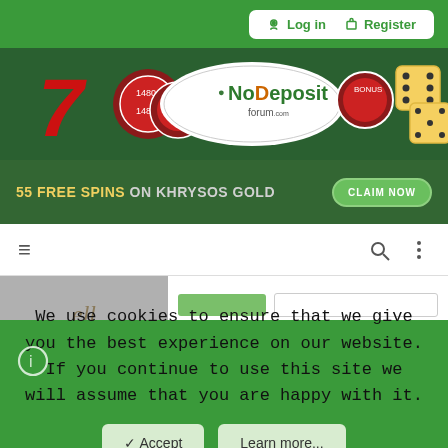Log in  Register
[Figure (illustration): NoDeposit forum casino banner with red 7, poker chips, logo oval, and dice on dark green background]
55 FREE SPINS ON KHRYSOS GOLD  CLAIM NOW
[Figure (screenshot): Navigation bar with hamburger menu, search icon, and vertical dots menu icon]
[Figure (screenshot): Partial content strip with gray thumbnail on left and green/white bars on right]
We use cookies to ensure that we give you the best experience on our website. If you continue to use this site we will assume that you are happy with it.
Accept  Learn more...